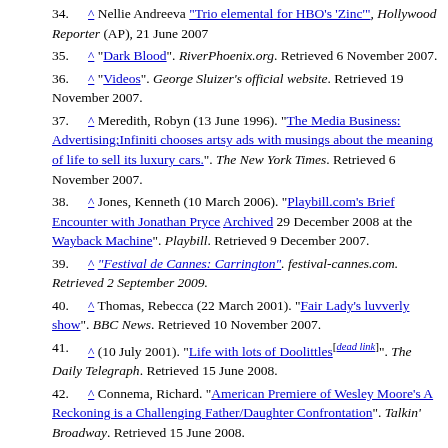34. ^ Nellie Andreeva "Trio elemental for HBO's 'Zinc'", Hollywood Reporter (AP), 21 June 2007
35. ^ "Dark Blood". RiverPhoenix.org. Retrieved 6 November 2007.
36. ^ "Videos". George Sluizer's official website. Retrieved 19 November 2007.
37. ^ Meredith, Robyn (13 June 1996). "The Media Business: Advertising;Infiniti chooses artsy ads with musings about the meaning of life to sell its luxury cars.". The New York Times. Retrieved 6 November 2007.
38. ^ Jones, Kenneth (10 March 2006). "Playbill.com's Brief Encounter with Jonathan Pryce Archived 29 December 2008 at the Wayback Machine". Playbill. Retrieved 9 December 2007.
39. ^ "Festival de Cannes: Carrington". festival-cannes.com. Retrieved 2 September 2009.
40. ^ Thomas, Rebecca (22 March 2001). "Fair Lady's luvverly show". BBC News. Retrieved 10 November 2007.
41. ^ (10 July 2001). "Life with lots of Doolittles[dead link]". The Daily Telegraph. Retrieved 15 June 2008.
42. ^ Connema, Richard. "American Premiere of Wesley Moore's A Reckoning is a Challenging Father/Daughter Confrontation". Talkin' Broadway. Retrieved 15 June 2008.
43. ^ Clover, Brian (19 April 2004). "The Goat or Who is Sylvia?". Curtain Up. Retrieved 19 January 2008.